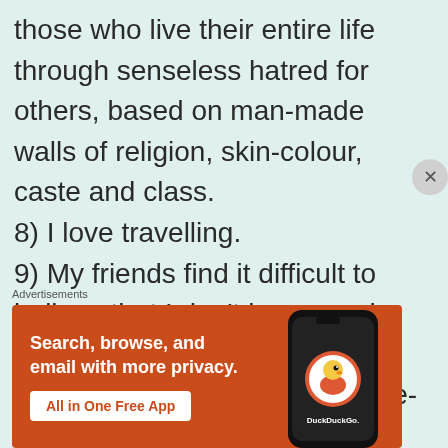those who live their entire life through senseless hatred for others, based on man-made walls of religion, skin-colour, caste and class.
8) I love travelling.
9) My friends find it difficult to believe that I don't have much taste for chocolates.
10) My idea of heaven is simple-
Advertisements
[Figure (screenshot): DuckDuckGo advertisement banner with orange background. Text: 'Search, browse, and email with more privacy. All in One Free App'. Shows a smartphone with DuckDuckGo logo.]